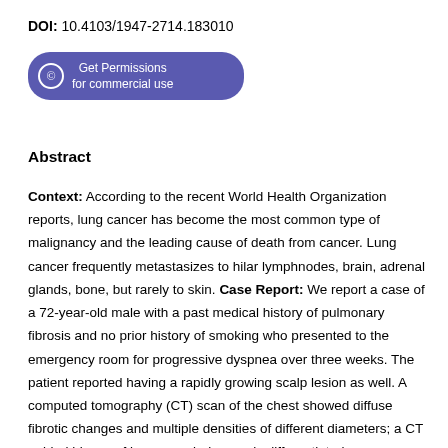DOI: 10.4103/1947-2714.183010
[Figure (other): Get Permissions for commercial use button with copyright icon, purple rounded rectangle button]
Abstract
Context: According to the recent World Health Organization reports, lung cancer has become the most common type of malignancy and the leading cause of death from cancer. Lung cancer frequently metastasizes to hilar lymphnodes, brain, adrenal glands, bone, but rarely to skin. Case Report: We report a case of a 72-year-old male with a past medical history of pulmonary fibrosis and no prior history of smoking who presented to the emergency room for progressive dyspnea over three weeks. The patient reported having a rapidly growing scalp lesion as well. A computed tomography (CT) scan of the chest showed diffuse fibrotic changes and multiple densities of different diameters; a CT guided biopsy of lung revealed a poorly differentiated adenocarcinoma. Excision of right scalp lesion was performed, and pathology revealed poorly differentiated malignant neoplasm favoring adenocarcinoma. Conclusion: We are presenting a rare case of lung